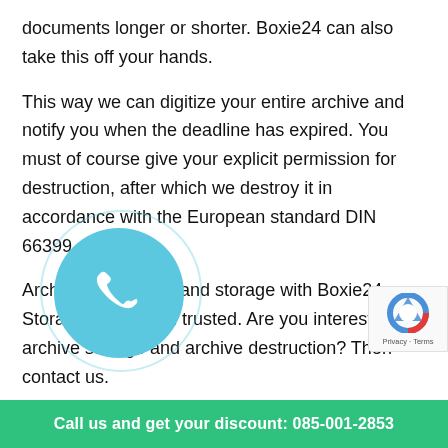documents longer or shorter. Boxie24 can also take this off your hands.
This way we can digitize your entire archive and notify you when the deadline has expired. You must of course give your explicit permission for destruction, after which we destroy it in accordance with the European standard DIN 66399.
Archive destruction and storage with Boxie24 Storage is safe and trusted. Are you interested in archive storage and archive destruction? Then contact us.
Archive destruction on location
[Figure (other): Phone call button circle icon in light blue]
[Figure (other): Google reCAPTCHA badge with Privacy and Terms links]
Call us and get your discount: 085-001-2853